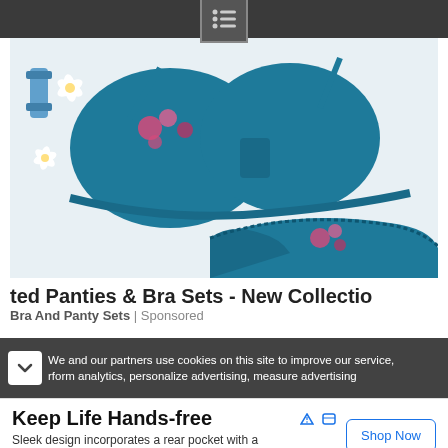Navigation menu icon (hamburger/list icon)
[Figure (photo): Teal/blue bra and panty lingerie set with floral embroidery, laid flat on white background with flowers and thread spools]
ted Panties & Bra Sets - New Collectio More)
Bra And Panty Sets | Sponsored
We and our partners use cookies on this site to improve our service, rform analytics, personalize advertising, measure advertising
Keep Life Hands-free
Sleek design incorporates a rear pocket with a secure snap for your ID and credit cards. Noémie